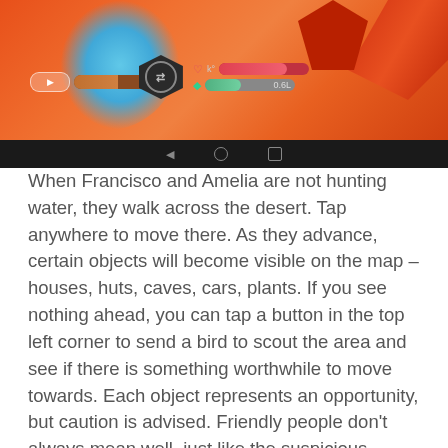[Figure (screenshot): Mobile game screenshot showing desert survival game with orange geometric background, blue splash effect on left, HUD elements including a hexagonal icon in center, health and water bars, a brown stamina bar on the left, and a dark Android navigation bar at the bottom.]
When Francisco and Amelia are not hunting water, they walk across the desert. Tap anywhere to move there. As they advance, certain objects will become visible on the map – houses, huts, caves, cars, plants. If you see nothing ahead, you can tap a button in the top left corner to send a bird to scout the area and see if there is something worthwhile to move towards. Each object represents an opportunity, but caution is advised. Friendly people don't always mean well, just like the suspicious people aren't necessarily dangerous. As usual, indifference breeds the worst of problems.